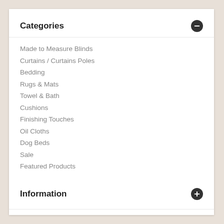Categories
Made to Measure Blinds
Curtains / Curtains Poles
Bedding
Rugs & Mats
Towel & Bath
Cushions
Finishing Touches
Oil Cloths
Dog Beds
Sale
Featured Products
Information
My account